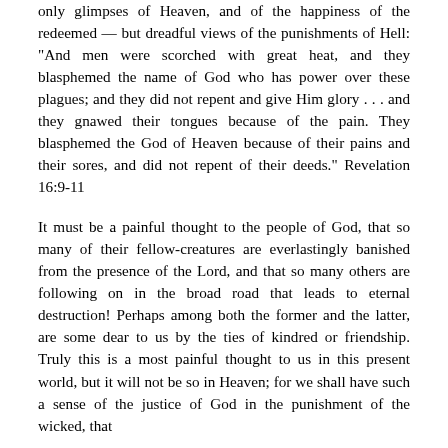only glimpses of Heaven, and of the happiness of the redeemed — but dreadful views of the punishments of Hell: "And men were scorched with great heat, and they blasphemed the name of God who has power over these plagues; and they did not repent and give Him glory . . . and they gnawed their tongues because of the pain. They blasphemed the God of Heaven because of their pains and their sores, and did not repent of their deeds." Revelation 16:9-11
It must be a painful thought to the people of God, that so many of their fellow-creatures are everlastingly banished from the presence of the Lord, and that so many others are following on in the broad road that leads to eternal destruction! Perhaps among both the former and the latter, are some dear to us by the ties of kindred or friendship. Truly this is a most painful thought to us in this present world, but it will not be so in Heaven; for we shall have such a sense of the justice of God in the punishment of the wicked, that